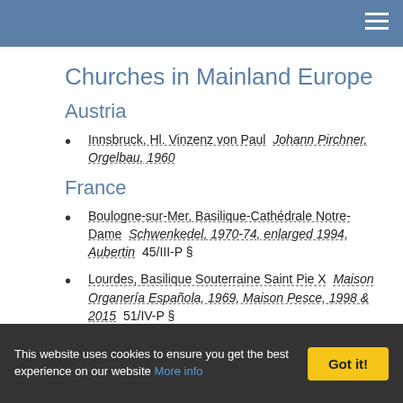Churches in Mainland Europe
Churches in Mainland Europe
Austria
Innsbruck, Hl. Vinzenz von Paul  Johann Pirchner, Orgelbau, 1960
France
Boulogne-sur-Mer, Basilique-Cathédrale Notre-Dame  Schwenkedel, 1970-74, enlarged 1994, Aubertin  45/III-P §
Lourdes, Basilique Souterraine Saint Pie X  Maison Organería Española, 1969, Maison Pesce, 1998 & 2015  51/IV-P §
Lourdes, Eglise Sainte Bernadette  Barthélémy Formentelli, 1992  37/III-P §
Paris, Notre Dame: choir organ  Boisseau, 1969, 1970-89  30/II-P
This website uses cookies to ensure you get the best experience on our website More info